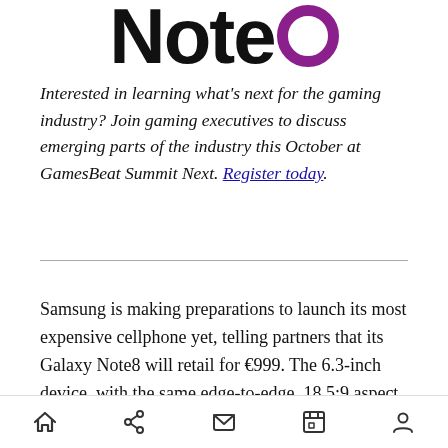[Figure (logo): Note8 logo — bold black text 'Note' followed by a purple circle outline forming the '8']
Interested in learning what's next for the gaming industry? Join gaming executives to discuss emerging parts of the industry this October at GamesBeat Summit Next. Register today.
Samsung is making preparations to launch its most expensive cellphone yet, telling partners that its Galaxy Note8 will retail for €999. The 6.3-inch device, with the same edge-to-edge, 18.5:9 aspect ratio AMOLED display as the Galaxy S8 li…